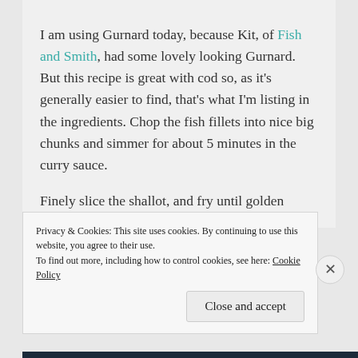I am using Gurnard today, because Kit, of Fish and Smith, had some lovely looking Gurnard. But this recipe is great with cod so, as it's generally easier to find, that's what I'm listing in the ingredients. Chop the fish fillets into nice big chunks and simmer for about 5 minutes in the curry sauce.
Finely slice the shallot, and fry until golden
Privacy & Cookies: This site uses cookies. By continuing to use this website, you agree to their use.
To find out more, including how to control cookies, see here: Cookie Policy